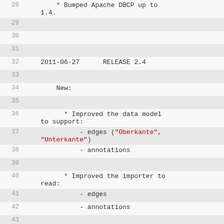28    * Bumped Apache DBCP up to 1.4.
29
30
31
32    2011-06-27      RELEASE 2.4
33
34        New:
35
36          * Improved the data model to support:
37              - edges ("Oberkante", "Unterkante")
38              - annotations
39
40          * Improved the importer to read:
41              - edges
42              - annotations
43
44          * Made search for gauges in River independent of from/to
45                kilometer order.
46
47
48        Fixes:
49
50          * flys/issue76 Close gaps